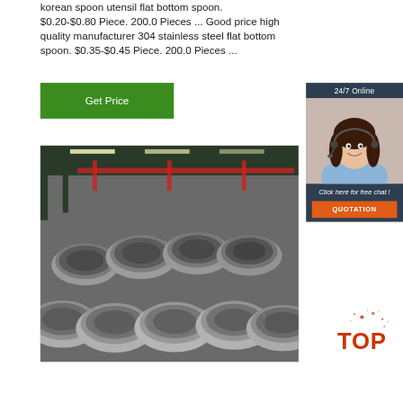korean spoon utensil flat bottom spoon. $0.20-$0.80 Piece. 200.0 Pieces ... Good price high quality manufacturer 304 stainless steel flat bottom spoon. $0.35-$0.45 Piece. 200.0 Pieces ...
[Figure (other): Green 'Get Price' button]
[Figure (other): 24/7 Online chat widget with a woman wearing a headset, 'Click here for free chat!' text, and an orange QUOTATION button]
[Figure (photo): Industrial warehouse with large coils/rolls of steel wire rod stacked together]
[Figure (other): TOP badge/logo in bottom right corner]